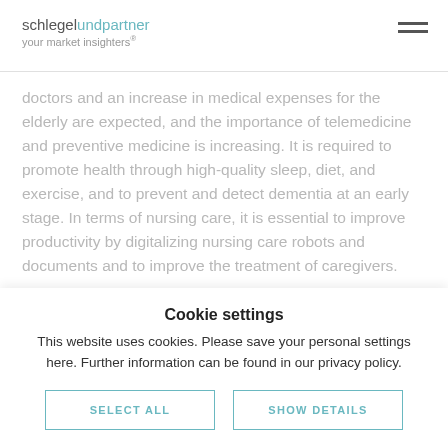schlegel und partner your market insighters®
doctors and an increase in medical expenses for the elderly are expected, and the importance of telemedicine and preventive medicine is increasing. It is required to promote health through high-quality sleep, diet, and exercise, and to prevent and detect dementia at an early stage. In terms of nursing care, it is essential to improve productivity by digitalizing nursing care robots and documents and to improve the treatment of caregivers.
Cookie settings
This website uses cookies. Please save your personal settings here. Further information can be found in our privacy policy.
SELECT ALL
SHOW DETAILS